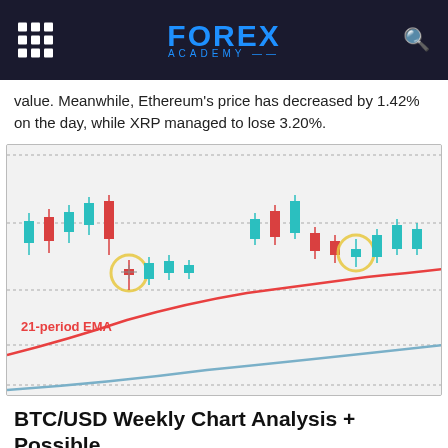FOREX ACADEMY
value. Meanwhile, Ethereum's price has decreased by 1.42% on the day, while XRP managed to lose 3.20%.
[Figure (continuous-plot): BTC/USD weekly candlestick chart showing teal and red candles with a rising 21-period EMA (red curve) and a flatter blue EMA curve below. Two doji candles are highlighted with yellow circles indicating market indecision points. Horizontal dashed lines mark key price levels. The 21-period EMA label appears in red on the lower left of the chart.]
BTC/USD Weekly Chart Analysis + Possible Outcomes